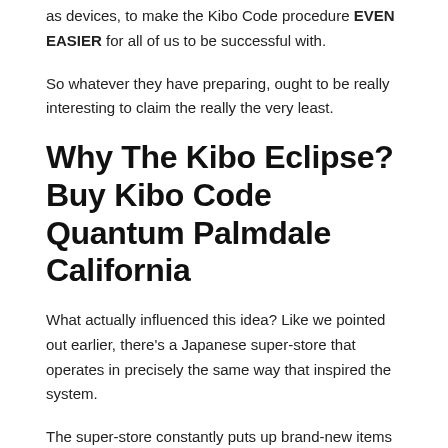as devices, to make the Kibo Code procedure EVEN EASIER for all of us to be successful with.
So whatever they have preparing, ought to be really interesting to claim the really the very least.
Why The Kibo Eclipse? Buy Kibo Code Quantum Palmdale California
What actually influenced this idea? Like we pointed out earlier, there's a Japanese super-store that operates in precisely the same way that inspired the system.
The super-store constantly puts up brand-new items and after time eliminates bad sellers. What remains is also maintained until it no longer offers.